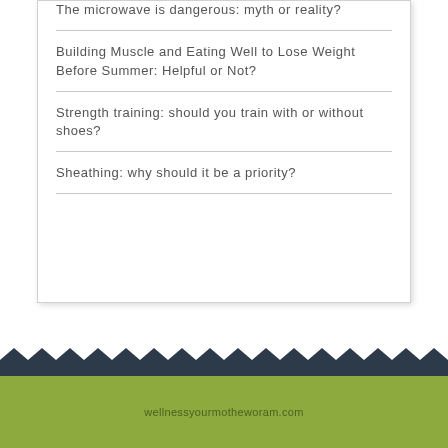The microwave is dangerous: myth or reality?
Building Muscle and Eating Well to Lose Weight Before Summer: Helpful or Not?
Strength training: should you train with or without shoes?
Sheathing: why should it be a priority?
wellnessyourmotheworam.com